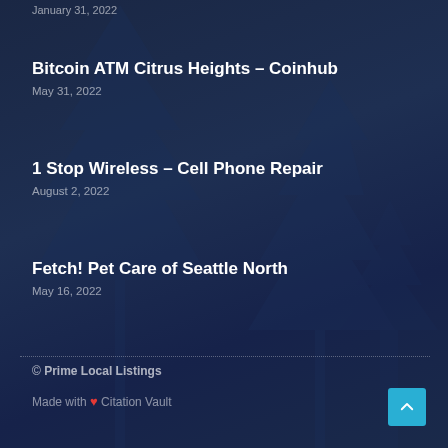January 31, 2022
Bitcoin ATM Citrus Heights – Coinhub
May 31, 2022
1 Stop Wireless – Cell Phone Repair
August 2, 2022
Fetch! Pet Care of Seattle North
May 16, 2022
© Prime Local Listings
Made with ♥ Citation Vault